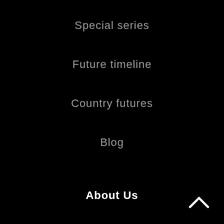Special series
Future timeline
Country futures
Blog
About Us
About us
Methodology
Careers
[Figure (illustration): Upward chevron arrow icon in white at bottom right corner]